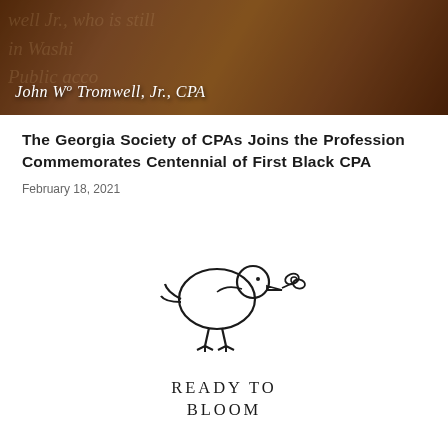[Figure (photo): Historical sepia-toned header image with text overlay reading 'John W. Cromwell, Jr., CPA' in script font, with background newspaper text about Washington DC public accounting]
The Georgia Society of CPAs Joins the Profession Commemorates Centennial of First Black CPA
February 18, 2021
[Figure (logo): Ready to Bloom logo featuring a minimalist line-art bird holding a flower sprig in its beak, with legs like roots or branches, above the text READY TO BLOOM in spaced capital letters]